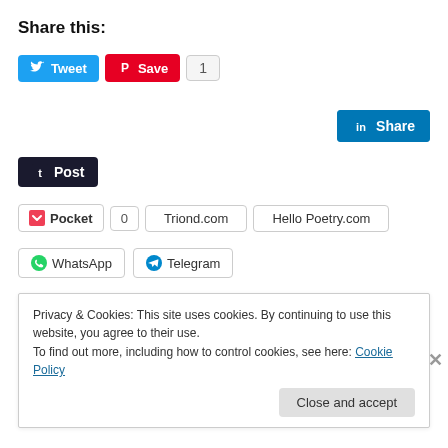Share this:
[Figure (screenshot): Social sharing buttons: Tweet (Twitter), Save (Pinterest with count 1), LinkedIn Share, Tumblr Post, Pocket with count 0, Triond.com, Hello Poetry.com, WhatsApp, Telegram]
Loading...
Privacy & Cookies: This site uses cookies. By continuing to use this website, you agree to their use.
To find out more, including how to control cookies, see here: Cookie Policy
Close and accept